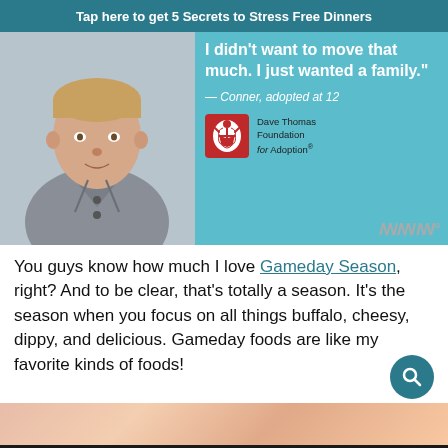Tap here to get 5 Secrets to Stress Free Dinners
[Figure (photo): Advertisement for Dave Thomas Foundation for Adoption showing a young boy in a grey shirt with quote: 'I didn't want to move that much. I just wanted a family.' — Conner, adopted at 12]
You guys know how much I love Gameday Season, right? And to be clear, that's totally a season. It's the season when you focus on all things buffalo, cheesy, dippy, and delicious. Gameday foods are like my favorite kinds of foods!
[Figure (photo): Partial food photo strip showing blurred colorful food items]
SHE CAN STEM